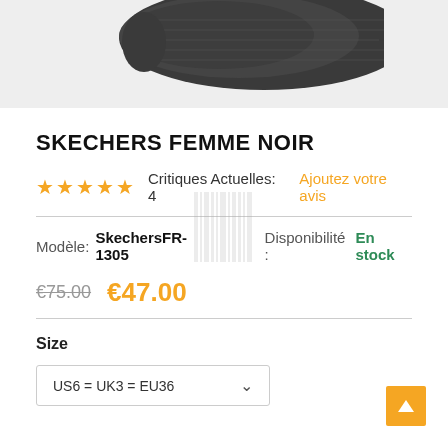[Figure (photo): Partial view of a dark grey/black Skechers shoe sole and upper, cropped at the top of the page]
SKECHERS FEMME NOIR
★★★★★  Critiques Actuelles: 4   Ajoutez votre avis
Modèle:  SkechersFR-1305    Disponibilité :   En stock
€75.00  €47.00
Size
US6 = UK3 = EU36